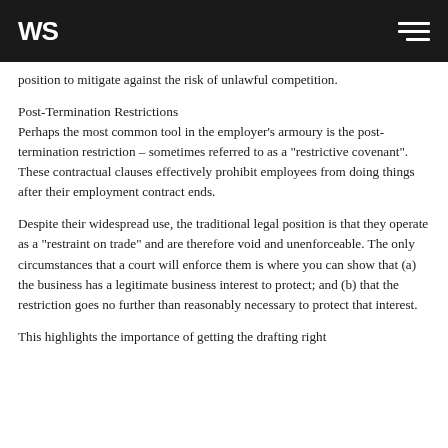WS
position to mitigate against the risk of unlawful competition.
Post-Termination Restrictions
Perhaps the most common tool in the employer’s armoury is the post-termination restriction – sometimes referred to as a “restrictive covenant”. These contractual clauses effectively prohibit employees from doing things after their employment contract ends.
Despite their widespread use, the traditional legal position is that they operate as a “restraint on trade” and are therefore void and unenforceable. The only circumstances that a court will enforce them is where you can show that (a) the business has a legitimate business interest to protect; and (b) that the restriction goes no further than reasonably necessary to protect that interest.
This highlights the importance of getting the drafting right